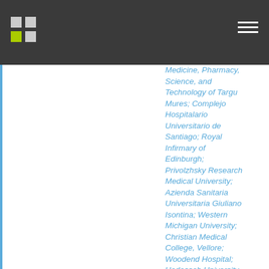Medicine, Pharmacy, Science, and Technology of Targu Mures; Complejo Hospitalario Universitario de Santiago; Royal Infirmary of Edinburgh; Privolzhsky Research Medical University; Azienda Sanitaria Universitaria Giuliano Isontina; Western Michigan University; Christian Medical College, Vellore; Woodend Hospital; Hadassah University Medical Centre; University Hospital...